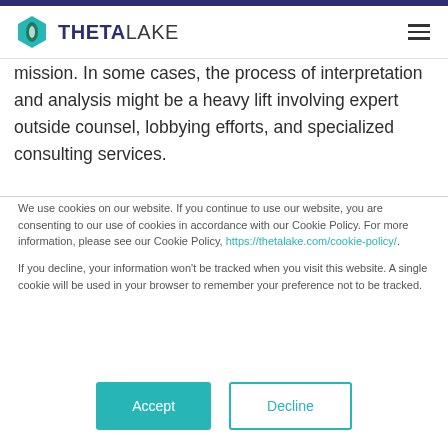THETALAKE
mission. In some cases, the process of interpretation and analysis might be a heavy lift involving expert outside counsel, lobbying efforts, and specialized consulting services.
We use cookies on our website. If you continue to use our website, you are consenting to our use of cookies in accordance with our Cookie Policy. For more information, please see our Cookie Policy, https://thetalake.com/cookie-policy/.
If you decline, your information won't be tracked when you visit this website. A single cookie will be used in your browser to remember your preference not to be tracked.